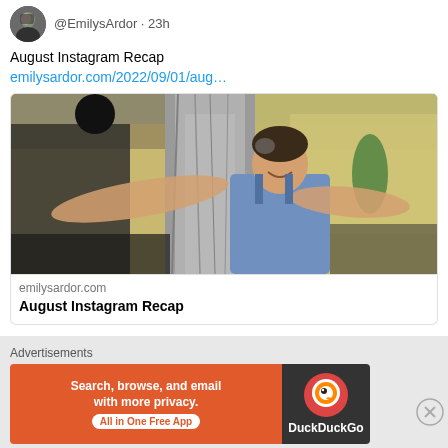@EmilysArdor · 23h
August Instagram Recap
emilysardor.com/2022/09/01/aug…
[Figure (photo): Woman smiling with arms outstretched in what appears to be an outdoor restaurant or bar setting with a large tree trunk in the background]
emilysardor.com
August Instagram Recap
Advertisements
[Figure (infographic): DuckDuckGo advertisement banner: 'Search, browse, and email with more privacy. All in One Free App' with DuckDuckGo duck logo on dark background]